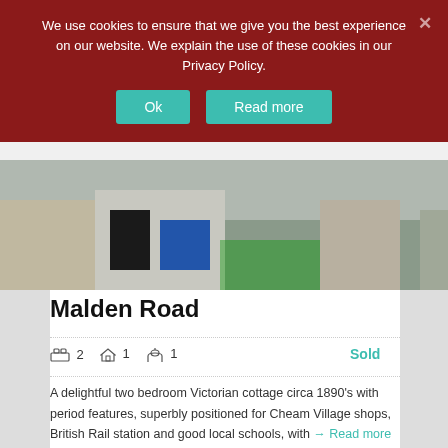We use cookies to ensure that we give you the best experience on our website. We explain the use of these cookies in our Privacy Policy.
[Figure (screenshot): Top portion of a property listing page partially visible behind cookie banner — shows a street-view image of a property]
Malden Road
2 bedrooms, 1 bathroom, 1 property — Sold
A delightful two bedroom Victorian cottage circa 1890's with period features, superbly positioned for Cheam Village shops, British Rail station and good local schools, with → Read more
[Figure (photo): Photograph of a rooftop with a chimney stack against a cloudy sky, with a SOLD overlay badge in the bottom right corner]